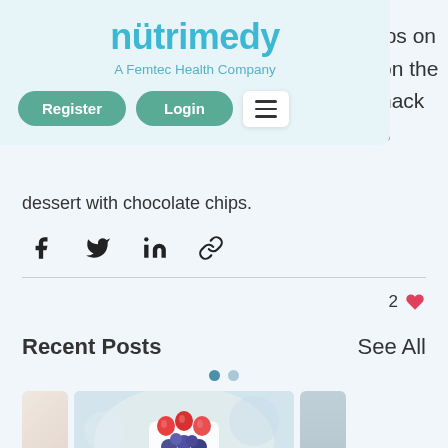[Figure (screenshot): Nutrimedy navigation bar with logo, 'A Femtec Health Company' subtitle, Register and Login buttons, and hamburger menu icon]
ips on
on the
nack
s
dessert with chocolate chips.
[Figure (other): Social sharing icons: Facebook, Twitter, LinkedIn, link/copy]
2 ♥
Recent Posts
See All
[Figure (photo): Food photo showing a glass cup with yogurt parfait topped with strawberries and blueberries]